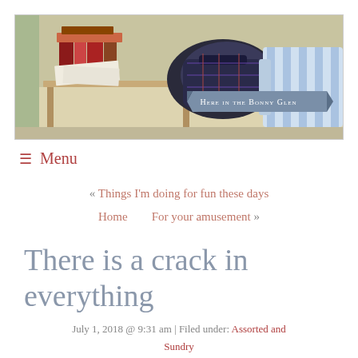[Figure (illustration): Header banner illustration showing books stacked on a table with papers, a dark bag/briefcase, and a striped sofa/chair in the background. A ribbon banner reads 'Here in the Bonny Glen' in the lower right area.]
≡  Menu
« Things I'm doing for fun these days
Home    For your amusement »
There is a crack in everything
July 1, 2018 @ 9:31 am | Filed under: Assorted and Sundry